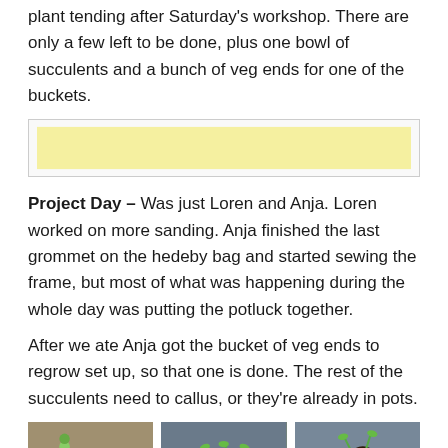plant tending after Saturday's workshop. There are only a few left to be done, plus one bowl of succulents and a bunch of veg ends for one of the buckets.
[Figure (illustration): Decorative border strip with a repeating green succulent/flower motif on a yellow background, enclosed in a light gray bordered box.]
Project Day – Was just Loren and Anja. Loren worked on more sanding. Anja finished the last grommet on the hedeby bag and started sewing the frame, but most of what was happening during the whole day was putting the potluck together.
After we ate Anja got the bucket of veg ends to regrow set up, so that one is done. The rest of the succulents need to callus, or they're already in pots.
[Figure (photo): Three photos side by side: left shows a green vegetable/pen on a wooden surface; center shows a white bowl with soil and small green plants; right shows a white bowl with soil and a small plant.]